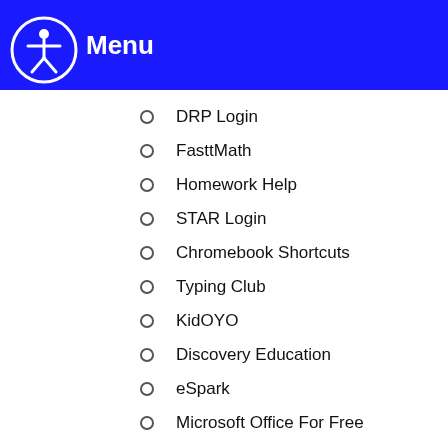Menu
DRP Login
FasttMath
Homework Help
STAR Login
Chromebook Shortcuts
Typing Club
KidOYO
Discovery Education
eSpark
Microsoft Office For Free